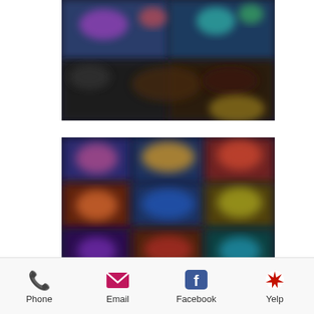[Figure (photo): Blurred screenshot of a mobile app grid with dark background and colorful tiles]
[Figure (photo): Blurred screenshot of a mobile app grid with colorful tiles in rows on dark background]
[Figure (infographic): Mobile app footer navigation bar with Phone, Email, Facebook, and Yelp icons and labels]